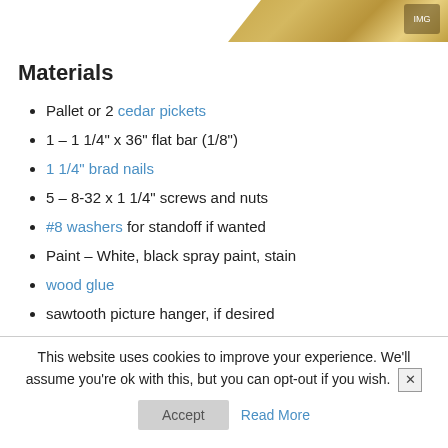[Figure (photo): Partial view of a wooden box or pallet product, showing cardboard/wood corner with a logo stamp in the upper right]
Materials
Pallet or 2 cedar pickets
1 – 1 1/4" x 36" flat bar (1/8")
1 1/4" brad nails
5 – 8-32 x 1 1/4" screws and nuts
#8 washers for standoff if wanted
Paint – White, black spray paint, stain
wood glue
sawtooth picture hanger, if desired
This website uses cookies to improve your experience. We'll assume you're ok with this, but you can opt-out if you wish.